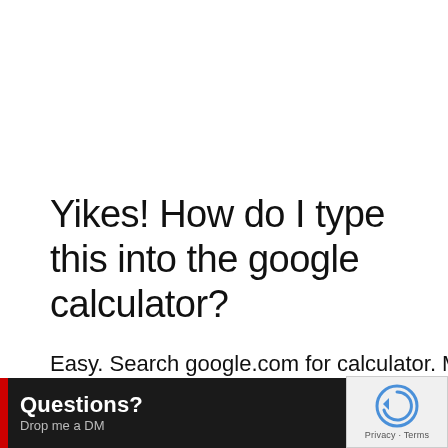Yikes! How do I type this into the google calculator?
Easy. Search google.com for calculator. Make sure you are in k inside the calculator w and type 2 [shift + 8]
[Figure (screenshot): Questions? Drop me a DM — dark overlay banner at bottom left]
[Figure (screenshot): reCAPTCHA Privacy - Terms widget at bottom right]